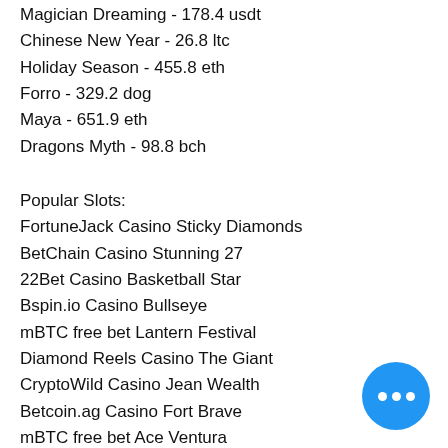Magician Dreaming - 178.4 usdt
Chinese New Year - 26.8 ltc
Holiday Season - 455.8 eth
Forro - 329.2 dog
Maya - 651.9 eth
Dragons Myth - 98.8 bch
Popular Slots:
FortuneJack Casino Sticky Diamonds
BetChain Casino Stunning 27
22Bet Casino Basketball Star
Bspin.io Casino Bullseye
mBTC free bet Lantern Festival
Diamond Reels Casino The Giant
CryptoWild Casino Jean Wealth
Betcoin.ag Casino Fort Brave
mBTC free bet Ace Ventura
Betcoin.ag Casino Shake It
Bspin.io Casino Oriental Fortune
22Bet Casino Great Reef
mBTC free bet Sweet Life 2